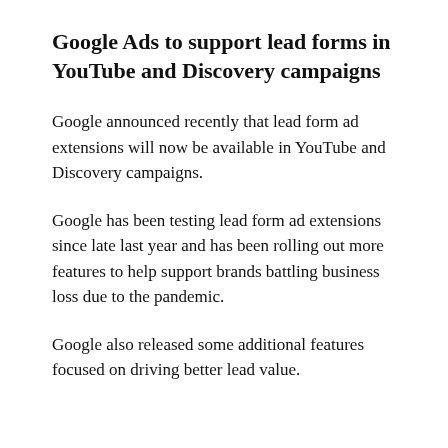Google Ads to support lead forms in YouTube and Discovery campaigns
Google announced recently that lead form ad extensions will now be available in YouTube and Discovery campaigns.
Google has been testing lead form ad extensions since late last year and has been rolling out more features to help support brands battling business loss due to the pandemic.
Google also released some additional features focused on driving better lead value.